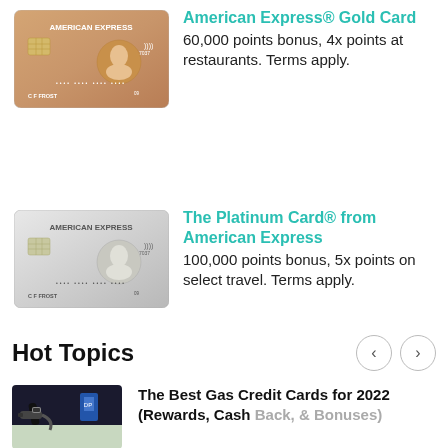[Figure (illustration): American Express Gold Card - rose gold colored credit card with chip and American Express logo]
American Express® Gold Card
60,000 points bonus, 4x points at restaurants. Terms apply.
[Figure (illustration): The Platinum Card from American Express - silver/platinum colored credit card with chip and American Express logo]
The Platinum Card® from American Express
100,000 points bonus, 5x points on select travel. Terms apply.
Hot Topics
[Figure (photo): Person holding a gas pump nozzle at a gas station, with a charging station visible in background]
The Best Gas Credit Cards for 2022 (Rewards, Cash Back, & Bonuses)